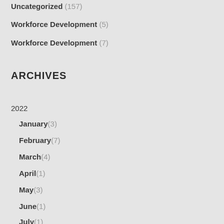Uncategorized (157)
Workforce Development (5)
Workforce Development (7)
ARCHIVES
2022
January(3)
February(7)
March(4)
April(1)
May(3)
June(1)
July(1)